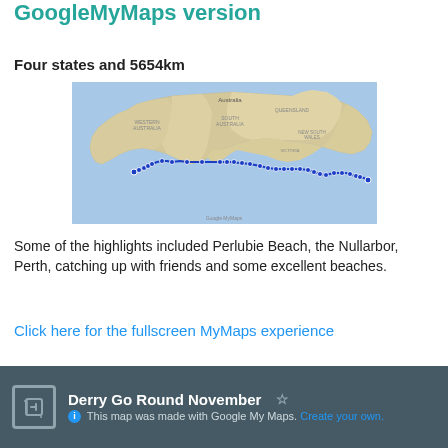GoogleMyMaps version
Four states and 5654km
[Figure (map): Google My Maps screenshot showing a route across southern Australia from Perth on the west coast to Melbourne/Sydney area on the east coast, with multiple blue pin markers along the route. The map shows Australia with state labels including Western Australia, South Australia, Queensland, New South Wales, Victoria. The route follows the southern coastline. Google Maps watermark visible at bottom.]
Some of the highlights included Perlubie Beach, the Nullarbor, Perth, catching up with friends and some excellent beaches.
Click here for the fullscreen MyMaps experience
Derry Go Round November ☆ This map was made with Google My Maps. Create your own.